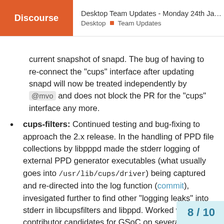Discourse | Desktop Team Updates - Monday 24th Ja... | Desktop ■ Team Updates
current snapshot of snapd. The bug of having to reconnect the “cups” interface after updating snapd will now be treated independently by @mvo and does not block the PR for the “cups” interface any more.
cups-filters: Continued testing and bug-fixing to approach the 2.x release. In the handling of PPD file collections by libpppd made the stderr logging of external PPD generator executables (what usually goes into /usr/lib/cups/driver) being captured and re-directed into the log function (commit), invesigated further to find other “logging leaks” into stderr in libcupsfilters and libppd. Worked woth code contributor candidates for GSoC on several bugs of cups-filters.
HPLIP Printer Application: Updated the contained HPLIP version to 3.21.12 (Snap St... user feedback in Issue #1 and Iss...
8 / 10